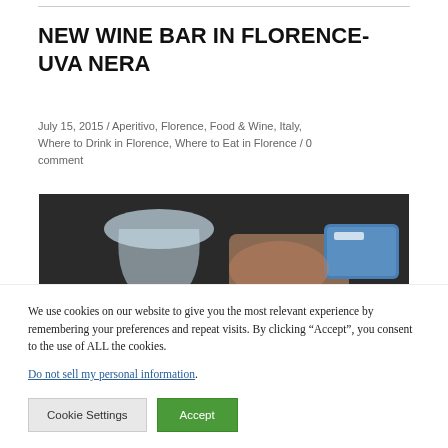NEW WINE BAR IN FLORENCE- UVA NERA
July 15, 2015 / Aperitivo, Florence, Food & Wine, Italy, Where to Drink in Florence, Where to Eat in Florence / 0 comment
[Figure (photo): Photo of hands holding wine glass and a small blue object, possibly a menu or card]
We use cookies on our website to give you the most relevant experience by remembering your preferences and repeat visits. By clicking “Accept”, you consent to the use of ALL the cookies.
Do not sell my personal information.